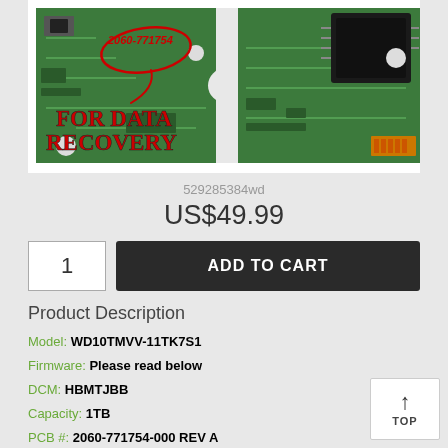[Figure (photo): PCB circuit board for data recovery, labeled 2060-771754 in red with a red oval annotation and 'FOR DATA RECOVERY' text overlay. Shows green circuit board with electronic components and chip.]
529285384wd
US$49.99
1
ADD TO CART
Product Description
Model: WD10TMVV-11TK7S1
Firmware: Please read below
DCM: HBMTJBB
Capacity: 1TB
PCB #: 2060-771754-000 REV A